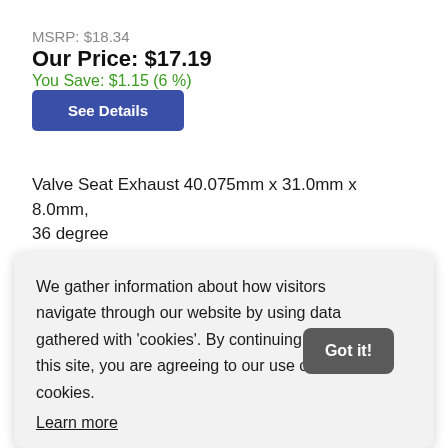MSRP: $18.34
Our Price: $17.19
You Save: $1.15 (6 %)
See Details
Valve Seat Exhaust 40.075mm x 31.0mm x 8.0mm, 36 degree
We gather information about how visitors navigate through our website by using data gathered with 'cookies'. By continuing to use this site, you are agreeing to our use of cookies.
Learn more
Got it!